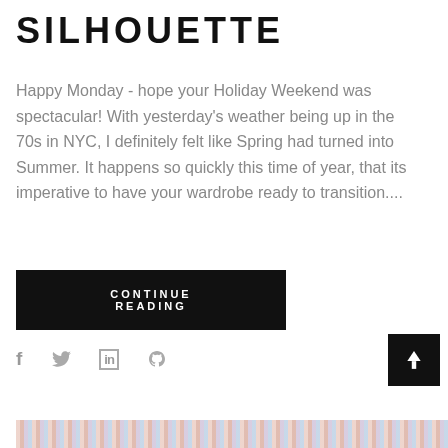SILHOUETTE
Happy Monday - hope your Holiday Weekend was spectacular! With yesterday's weather being up in the 70s in NYC, I definitely felt like Spring had turned into Summer. It happens so quickly this time of year, that its imperative to have your wardrobe ready to transition....
CONTINUE READING
[Figure (other): Social sharing icons: Facebook (f), Twitter (bird), LinkedIn (in), Pinterest (p), and a scroll-to-top button (up arrow)]
[Figure (other): Partial bottom image strip with colorful pattern visible at the bottom of the page]